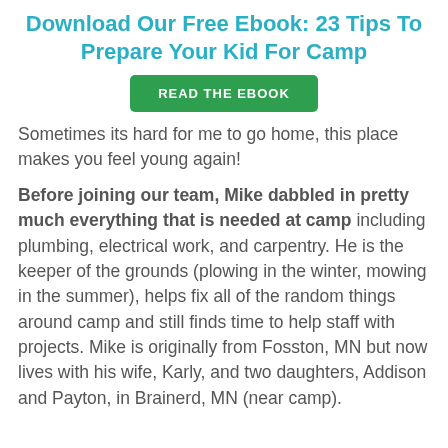Download Our Free Ebook: 23 Tips To Prepare Your Kid For Camp
[Figure (other): Green button labeled READ THE EBOOK]
Sometimes its hard for me to go home, this place makes you feel young again!
Before joining our team, Mike dabbled in pretty much everything that is needed at camp including plumbing, electrical work, and carpentry. He is the keeper of the grounds (plowing in the winter, mowing in the summer), helps fix all of the random things around camp and still finds time to help staff with projects. Mike is originally from Fosston, MN but now lives with his wife, Karly, and two daughters, Addison and Payton, in Brainerd, MN (near camp).